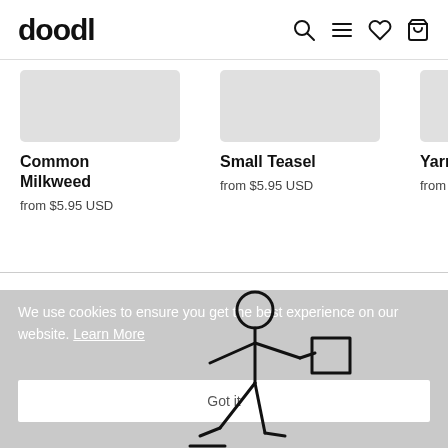doodl
Common Milkweed
from $5.95 USD
Small Teasel
from $5.95 USD
Yarn
from $5.
[Figure (illustration): Stick figure person pushing a box, used as cookie consent illustration]
We use cookies to ensure you get the best experience on our website. Learn More
Got it